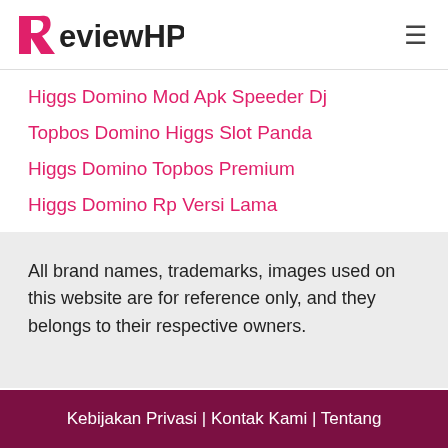ReviewHP
Higgs Domino Mod Apk Speeder Dj
Topbos Domino Higgs Slot Panda
Higgs Domino Topbos Premium
Higgs Domino Rp Versi Lama
All brand names, trademarks, images used on this website are for reference only, and they belongs to their respective owners.
Kebijakan Privasi | Kontak Kami | Tentang